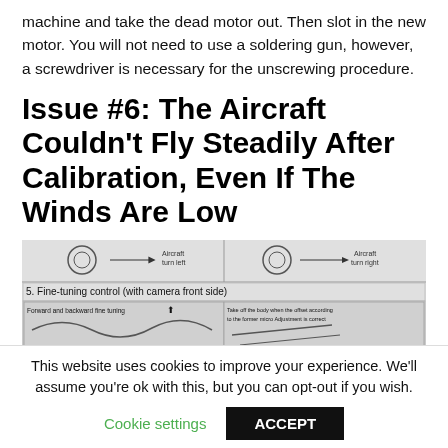machine and take the dead motor out. Then slot in the new motor. You will not need to use a soldering gun, however, a screwdriver is necessary for the unscrewing procedure.
Issue #6: The Aircraft Couldn't Fly Steadily After Calibration, Even If The Winds Are Low
[Figure (photo): Black and white diagram showing aircraft calibration fine-tuning control instructions. Section 5: Fine-tuning control (with camera front side). Shows aircraft turn left and turn right diagrams, forward and backward fine tuning instructions, and instructions to take off the body when the offset according to the former micro Adjustment is correct.]
This website uses cookies to improve your experience. We'll assume you're ok with this, but you can opt-out if you wish.
Cookie settings    ACCEPT